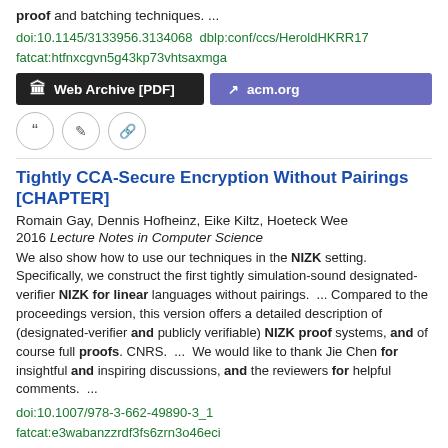proof and batching techniques. ...
doi:10.1145/3133956.3134068  dblp:conf/ccs/HeroldHKRR17
fatcat:htfnxcgvn5g43kp73vhtsaxmga
[Figure (other): Two buttons: 'Web Archive [PDF]' (dark background) and 'acm.org' (purple background), and three small icon buttons (quote, edit, link)]
Tightly CCA-Secure Encryption Without Pairings [CHAPTER]
Romain Gay, Dennis Hofheinz, Eike Kiltz, Hoeteck Wee
2016 Lecture Notes in Computer Science
We also show how to use our techniques in the NIZK setting. Specifically, we construct the first tightly simulation-sound designated-verifier NIZK for linear languages without pairings.  ...  Compared to the proceedings version, this version offers a detailed description of (designated-verifier and publicly verifiable) NIZK proof systems, and of course full proofs. CNRS.  ...  We would like to thank Jie Chen for insightful and inspiring discussions, and the reviewers for helpful comments.  ...
doi:10.1007/978-3-662-49890-3_1
fatcat:e3wabanzzrdf3fs6zrn3o46eci